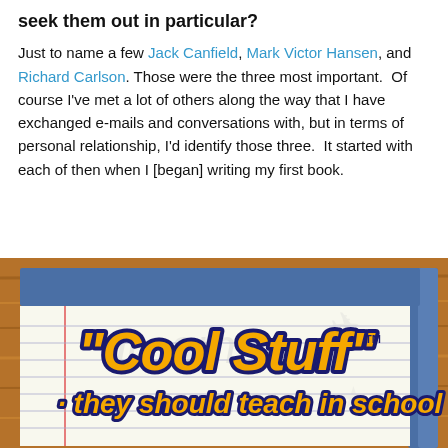seek them out in particular?
Just to name a few Jack Canfield, Mark Victor Hansen, and Richard Carlson. Those were the three most important.  Of course I've met a lot of others along the way that I have exchanged e-mails and conversations with, but in terms of personal relationship, I'd identify those three.  It started with each of then when I [began] writing my first book.
[Figure (photo): Book cover image for 'Cool Stuff they should teach in school' — colorful graffiti-style orange and navy text on a lined notebook paper background with a wooden desk surface and blue notebook border.]